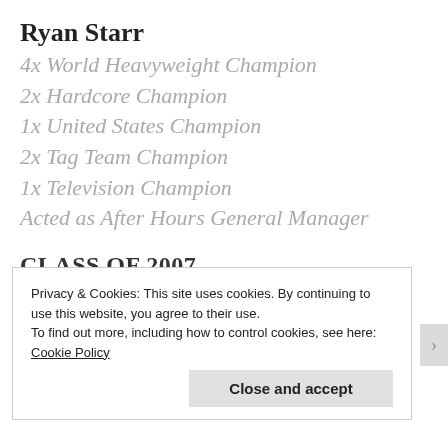Ryan Starr
4x World Heavyweight Champion
2x Hardcore Champion
1x United States Champion
2x Tag Team Champion
1x Television Champion
Acted as After Hours General Manager
CLASS OF 2007
Danger
4x World Heavyweight Champion
Privacy & Cookies: This site uses cookies. By continuing to use this website, you agree to their use.
To find out more, including how to control cookies, see here: Cookie Policy
Close and accept